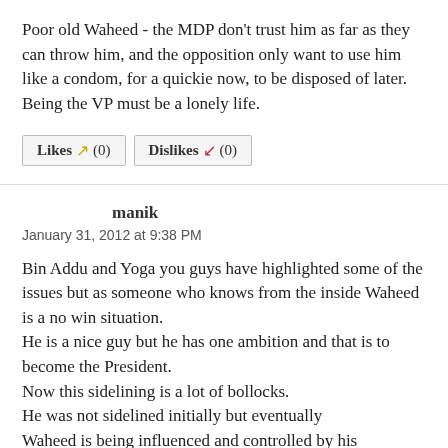Poor old Waheed - the MDP don't trust him as far as they can throw him, and the opposition only want to use him like a condom, for a quickie now, to be disposed of later. Being the VP must be a lonely life.
Likes (0)   Dislikes (0)
manik
January 31, 2012 at 9:38 PM
Bin Addu and Yoga you guys have highlighted some of the issues but as someone who knows from the inside Waheed is a no win situation.
He is a nice guy but he has one ambition and that is to become the President.
Now this sidelining is a lot of bollocks.
He was not sidelined initially but eventually
Waheed is being influenced and controlled by his